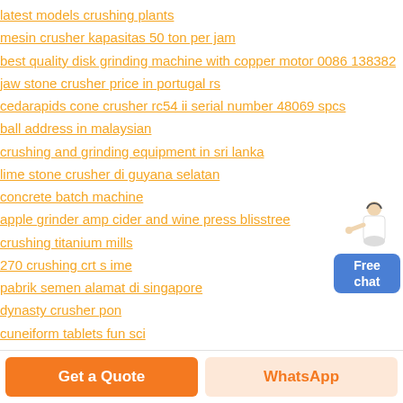latest models crushing plants
mesin crusher kapasitas 50 ton per jam
best quality disk grinding machine with copper motor 0086 13838265130
jaw stone crusher price in portugal rs
cedarapids cone crusher rc54 ii serial number 48069 spcs
ball address in malaysian
crushing and grinding equipment in sri lanka
lime stone crusher di guyana selatan
concrete batch machine
apple grinder amp cider and wine press blisstree
crushing titanium mills
270 crushing crt s ime
pabrik semen alamat di singapore
dynasty crusher pon
cuneiform tablets fun sci
[Figure (illustration): Customer service representative figure with Free chat button widget]
Get a Quote
WhatsApp